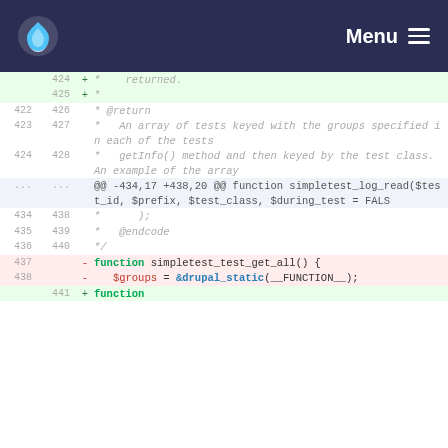Menu
[Figure (screenshot): Code diff viewer showing changes to PHP code for simpletest functions. Lines 422-441 shown with added lines (green), removed lines (red), and context lines. Includes a hunk header and PHP comment blocks.]